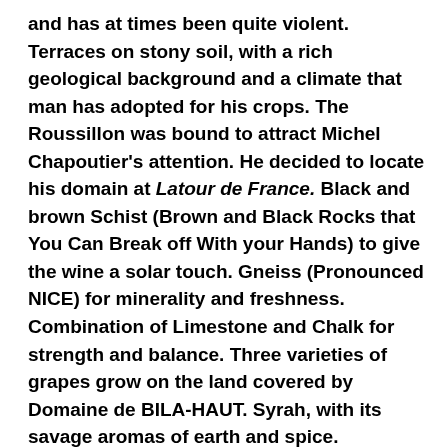and has at times been quite violent. Terraces on stony soil, with a rich geological background and a climate that man has adopted for his crops. The Roussillon was bound to attract Michel Chapoutier's attention. He decided to locate his domain at Latour de France. Black and brown Schist (Brown and Black Rocks that You Can Break off With your Hands) to give the wine a solar touch. Gneiss (Pronounced NICE) for minerality and freshness. Combination of Limestone and Chalk for strength and balance. Three varieties of grapes grow on the land covered by Domaine de BILA-HAUT. Syrah, with its savage aromas of earth and spice. Grenache, so full of surprises. And Carignan, for mineral wines with crispy tannic notes. The “Vignes de BILA-HAUT” and the “Domaine de BILA-HAUT Occultum Lapidem” are the main expressions of this